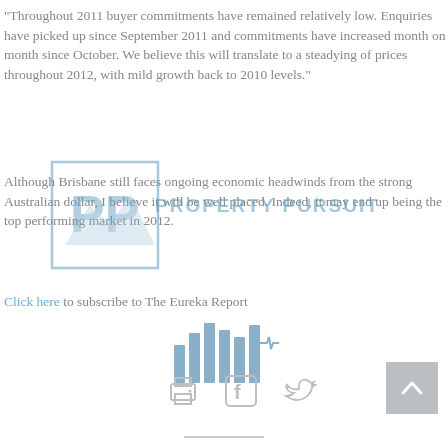"Throughout 2011 buyer commitments have remained relatively low. Enquiries have picked up since September 2011 and commitments have increased month on month since October. We believe this will translate to a steadying of prices throughout 2012, with mild growth back to 2010 levels."
Although Brisbane still faces ongoing economic headwinds from the strong Australian dollar, I believe it will be well placed. Indeed, it may end up being the top performing market in 2012.
Click here to subscribe to The Eureka Report
[Figure (logo): Property Pursuit watermark logo overlay with PP letters and building icon]
[Figure (infographic): Bar chart icon - decorative vertical bars in blue/grey]
[Figure (infographic): Social sharing icons: printer, Facebook, Twitter]
[Figure (infographic): Back to top button - grey square with upward chevron]